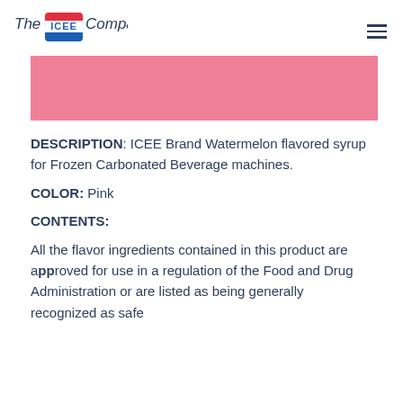The ICEE Company
[Figure (illustration): Pink rectangular banner/color swatch]
DESCRIPTION: ICEE Brand Watermelon flavored syrup for Frozen Carbonated Beverage machines.
COLOR: Pink
CONTENTS:
All the flavor ingredients contained in this product are approved for use in a regulation of the Food and Drug Administration or are listed as being generally recognized as safe